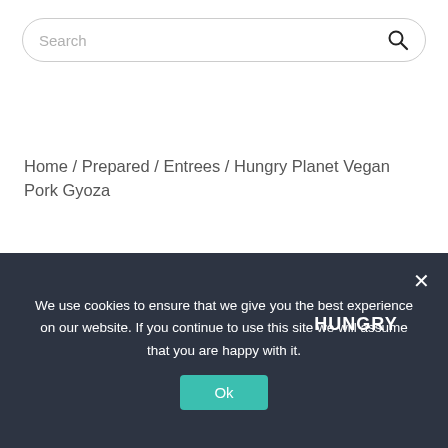Search
Home / Prepared / Entrees / Hungry Planet Vegan Pork Gyoza
[Figure (photo): Product package photo showing Hungry Planet Vegan Pork Gyoza packaging. Pink banner reads 'PRECOOKED SIMPLY HEAT & EAT'. Large dark blue text reads '100% MADE FROM PLANTS'. Teal circle badge with 'HUNGRY' text. Pink background strip in upper right corner.]
We use cookies to ensure that we give you the best experience on our website. If you continue to use this site we will assume that you are happy with it.